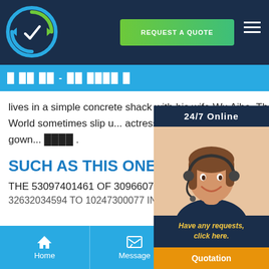[Figure (logo): Circular logo with green and blue arrow/sync icon on dark navy header background]
REQUEST A QUOTE
█ ██ ██ - ██ ████ █
lives in a simple concrete shack with his wife Wu Aihe. The couple said they marrie... after Japan's World sometimes slip u... actress revealed a tad more than she... when her beige Giorgio Armani gown... ████ .
SUCH AS THIS ONE
THE 53097401461 OF 30966074232 A...
32632034594 TO 10247300077 IN 14600515...
[Figure (photo): 24/7 Online popup with woman wearing headset smiling, customer support representative]
Home | Message | E-mail